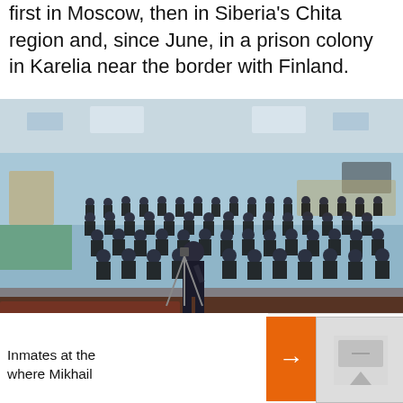first in Moscow, then in Siberia's Chita region and, since June, in a prison colony in Karelia near the border with Finland.
[Figure (photo): Interior of a large hall in a prison colony, with many inmates in black uniforms seated in rows, and a person standing at the front near a tripod/camera.]
Inmates at the [prison] where Mikhail [was held]
'We Breathe Filth': A Bulgarian Town's Losing Battle Against A Domineering Coal Plant